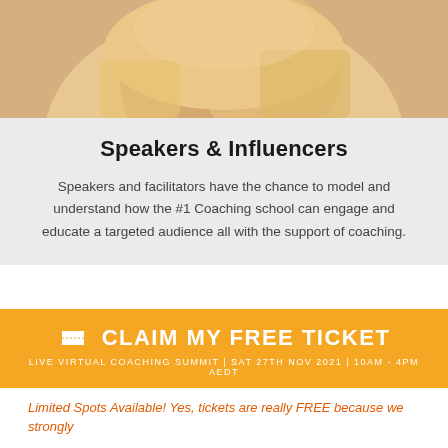[Figure (photo): Cropped photo showing arms and torso of a person, warm beige/skin tones, top portion of the image]
Speakers & Influencers
Speakers and facilitators have the chance to model and understand how the #1 Coaching school can engage and educate a targeted audience all with the support of coaching.
🎟 CLAIM MY FREE TICKET
LIVE VIRTUAL COACHING SUMMIT | SAT 27TH NOV 2021 | 10AM - 4PM AEDT
Limited Spots Available! Yes, tickets are really FREE because we strongly